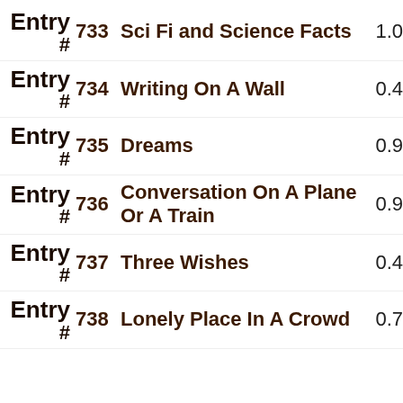Entry # 733 Sci Fi and Science Facts 1.0
Entry # 734 Writing On A Wall 0.4
Entry # 735 Dreams 0.9
Entry # 736 Conversation On A Plane Or A Train 0.9
Entry # 737 Three Wishes 0.4
Entry # 738 Lonely Place In A Crowd 0.7